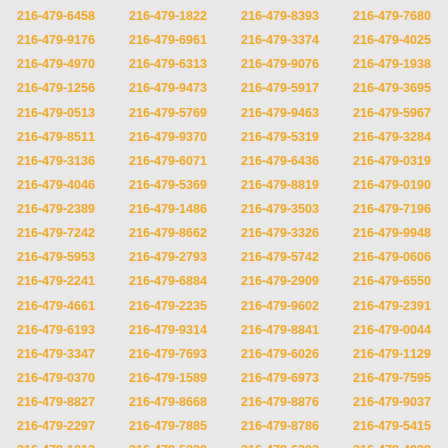216-479-6458 216-479-1822 216-479-8393 216-479-7680 216-479-9176 216-479-6961 216-479-3374 216-479-4025 216-479-4970 216-479-6313 216-479-9076 216-479-1938 216-479-1256 216-479-9473 216-479-5917 216-479-3695 216-479-0513 216-479-5769 216-479-9463 216-479-5967 216-479-8511 216-479-9370 216-479-5319 216-479-3284 216-479-3136 216-479-6071 216-479-6436 216-479-0319 216-479-4046 216-479-5369 216-479-8819 216-479-0190 216-479-2389 216-479-1486 216-479-3503 216-479-7196 216-479-7242 216-479-8662 216-479-3326 216-479-9948 216-479-5953 216-479-2793 216-479-5742 216-479-0606 216-479-2241 216-479-6884 216-479-2909 216-479-6550 216-479-4661 216-479-2235 216-479-9602 216-479-2391 216-479-6193 216-479-9314 216-479-8841 216-479-0044 216-479-3347 216-479-7693 216-479-6026 216-479-1129 216-479-0370 216-479-1589 216-479-6973 216-479-7595 216-479-8827 216-479-8668 216-479-8876 216-479-9037 216-479-2297 216-479-7885 216-479-8786 216-479-5415 216-479-1012 216-479-5820 216-479-6203 216-479-4098 216-479-8317 216-479-4762 216-479-4669 216-479-5548 216-479-2217 216-479-6559 216-479-3101 216-479-7570 216-479-9264 216-479-7076 216-479-4196 216-479-5093 216-479-3162 216-479-6528 216-479-6116 216-479-6725 216-479-8297 216-479-9127 216-479-6924 216-479-6682 216-479-8216 216-479-9189 216-479-1031 216-479-5892 216-479-7522 216-479-9118 216-479-9073 216-479-0136 216-479-7477 216-479-3043 216-479-6148 216-479-0615 216-479-8962 216-479-3629 216-479-0074 216-479-2596 216-479-3310 216-479-6744 216-479-0484 216-479-4189 216-479-2949 216-479-7130 216-479-7040 216-479-6804